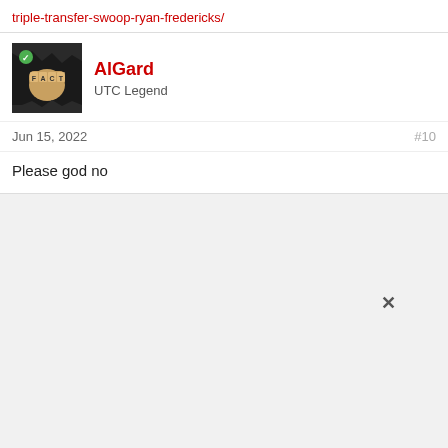triple-transfer-swoop-ryan-fredericks/
[Figure (illustration): Forum user avatar: a fist with knuckle tattoo letters spelling FACT on a dark torn paper background with a small green checkmark badge]
AlGard
UTC Legend
Jun 15, 2022
#10
Please god no